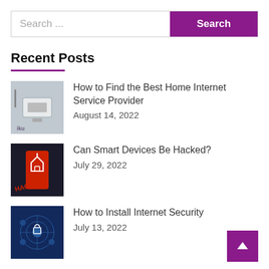Search ...
Recent Posts
How to Find the Best Home Internet Service Provider
August 14, 2022
Can Smart Devices Be Hacked?
July 29, 2022
How to Install Internet Security
July 13, 2022